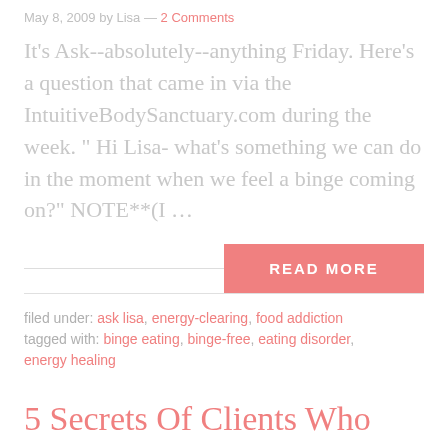May 8, 2009 by Lisa — 2 Comments
It's Ask--absolutely--anything Friday. Here's a question that came in via the IntuitiveBodySanctuary.com during the week. " Hi Lisa- what's something we can do in the moment when we feel a binge coming on?" NOTE**(I …
READ MORE
filed under: ask lisa, energy-clearing, food addiction
tagged with: binge eating, binge-free, eating disorder, energy healing
5 Secrets Of Clients Who